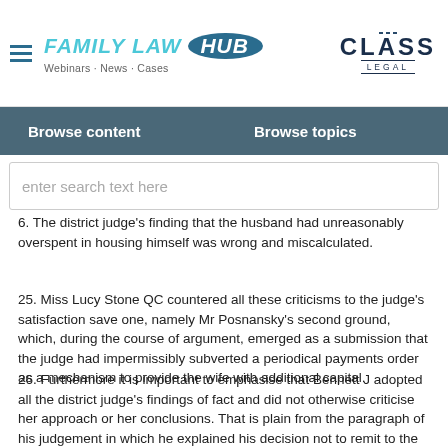FAMILY LAW HUB — Webinars · News · Cases | CLASS LEGAL
husband's need to make provision for his retirement out of
Browse content    Browse topics
enter search text here
6. The district judge's finding that the husband had unreasonably overspent in housing himself was wrong and miscalculated.
25. Miss Lucy Stone QC countered all these criticisms to the judge's satisfaction save one, namely Mr Posnansky's second ground, which, during the course of argument, emerged as a submission that the judge had impermissibly subverted a periodical payments order as a mechanism to provide the wife with additional capital.
26. Furthermore it is important to emphasise that Bennett J adopted all the district judge's findings of fact and did not otherwise criticise her approach or her conclusions. That is plain from the paragraph of his judgement in which he explained his decision not to remit to the district judge but to exercise his discretion afresh. In that paragraph he said: -